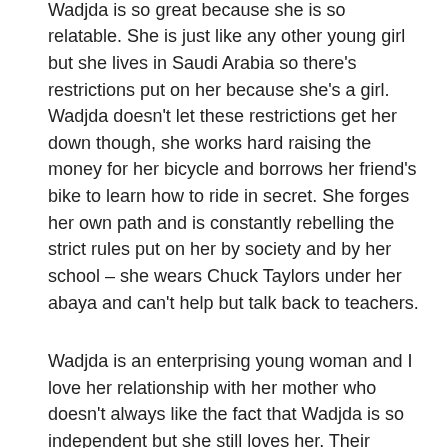get the money.
Wadjda is so great because she is so relatable. She is just like any other young girl but she lives in Saudi Arabia so there's restrictions put on her because she's a girl. Wadjda doesn't let these restrictions get her down though, she works hard raising the money for her bicycle and borrows her friend's bike to learn how to ride in secret. She forges her own path and is constantly rebelling the strict rules put on her by society and by her school – she wears Chuck Taylors under her abaya and can't help but talk back to teachers.
Wadjda is an enterprising young woman and I love her relationship with her mother who doesn't always like the fact that Wadjda is so independent but she still loves her. Their relationship has its problems but it's easy to see how much Wadjda loves her mother.
Wadjda is a child who wants to do her own thing but deep down she knows she won't always be allowed to, that doesn't stop her trying though and that is admirable.